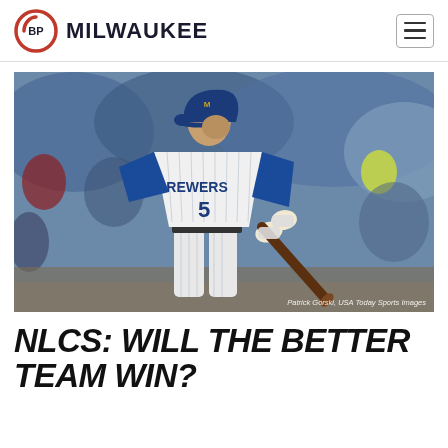BP MILWAUKEE
[Figure (photo): Milwaukee Brewers player wearing number 5 in a pinstripe uniform, carrying a baseball bat, with a blurred crowd in the background. Photo credit: Patrick Gorski, USA Today Sports Images.]
Patrick Gorski, USA Today Sports Images
NLCS: WILL THE BETTER TEAM WIN?